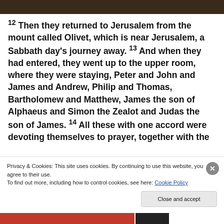[Figure (photo): Dark brown/black photo bar at top of page]
12 Then they returned to Jerusalem from the mount called Olivet, which is near Jerusalem, a Sabbath day's journey away. 13 And when they had entered, they went up to the upper room, where they were staying, Peter and John and James and Andrew, Philip and Thomas, Bartholomew and Matthew, James the son of Alphaeus and Simon the Zealot and Judas the son of James. 14 All these with one accord were devoting themselves to prayer, together with the
Privacy & Cookies: This site uses cookies. By continuing to use this website, you agree to their use.
To find out more, including how to control cookies, see here: Cookie Policy
Close and accept